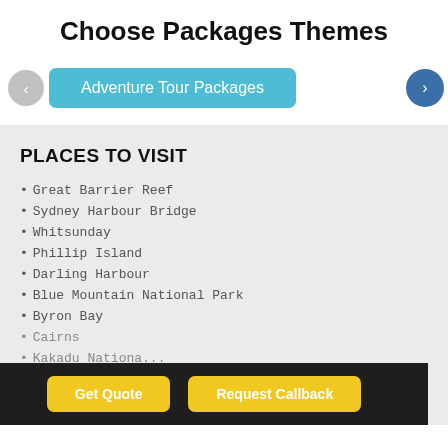Choose Packages Themes
Adventure Tour Packages
PLACES TO VISIT
Great Barrier Reef
Sydney Harbour Bridge
Whitsunday
Phillip Island
Darling Harbour
Blue Mountain National Park
Byron Bay
Cairns
Kakadu National...
Get Quote | Request Callback